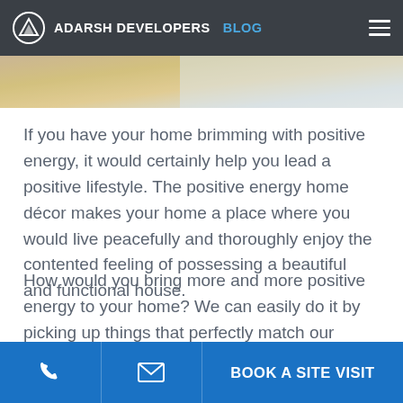ADARSH DEVELOPERS BLOG
[Figure (photo): Partial view of a home interior with yellow/chevron patterned cushions and light decor]
If you have your home brimming with positive energy, it would certainly help you lead a positive lifestyle. The positive energy home décor makes your home a place where you would live peacefully and thoroughly enjoy the contented feeling of possessing a beautiful and functional house.
How would you bring more and more positive energy to your home? We can easily do it by picking up things that perfectly match our vibes. Here are a few home décor items that can bring joy and positivity and make your dream abode aesthetically appealing.
BOOK A SITE VISIT